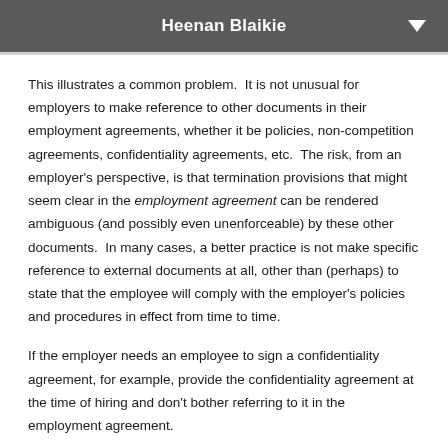Heenan Blaikie
This illustrates a common problem.  It is not unusual for employers to make reference to other documents in their employment agreements, whether it be policies, non-competition agreements, confidentiality agreements, etc.  The risk, from an employer's perspective, is that termination provisions that might seem clear in the employment agreement can be rendered ambiguous (and possibly even unenforceable) by these other documents.  In many cases, a better practice is not make specific reference to external documents at all, other than (perhaps) to state that the employee will comply with the employer's policies and procedures in effect from time to time.
If the employer needs an employee to sign a confidentiality agreement, for example, provide the confidentiality agreement at the time of hiring and don't bother referring to it in the employment agreement.